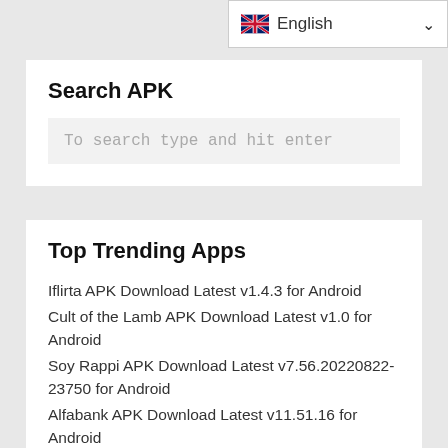English
Search APK
To search type and hit enter
Top Trending Apps
Iflirta APK Download Latest v1.4.3 for Android
Cult of the Lamb APK Download Latest v1.0 for Android
Soy Rappi APK Download Latest v7.56.20220822-23750 for Android
Alfabank APK Download Latest v11.51.16 for Android
Pale Aastor APK Download Latest v32.0.20-21 for Android
Tap Tap GitHub APK Download Latest v1.4 for Android